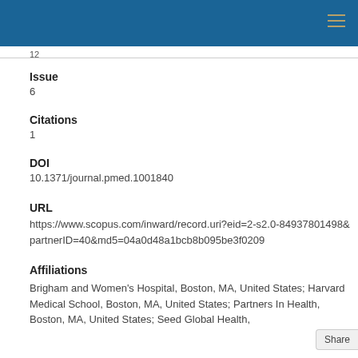12
Issue
6
Citations
1
DOI
10.1371/journal.pmed.1001840
URL
https://www.scopus.com/inward/record.uri?eid=2-s2.0-84937801498&partnerID=40&md5=04a0d48a1bcb8b095be3f0209
Affiliations
Brigham and Women's Hospital, Boston, MA, United States; Harvard Medical School, Boston, MA, United States; Partners In Health, Boston, MA, United States; Seed Global Health,